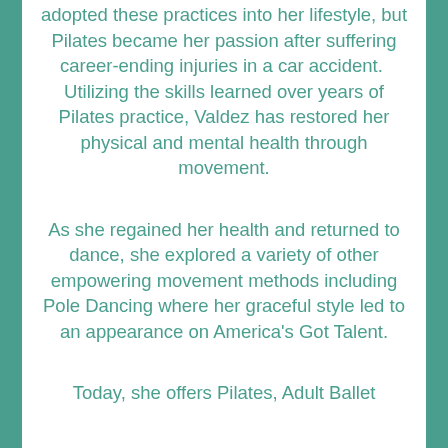adopted these practices into her lifestyle, but Pilates became her passion after suffering career-ending injuries in a car accident.  Utilizing the skills learned over years of Pilates practice, Valdez has restored her physical and mental health through movement.
As she regained her health and returned to dance, she explored a variety of other empowering movement methods including Pole Dancing where her graceful style led to an appearance on America's Got Talent.
Today, she offers Pilates, Adult Ballet and Pole Fitness classes at her...